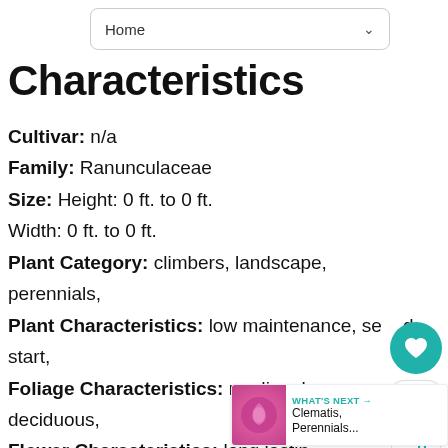Home
Characteristics
Cultivar: n/a
Family: Ranunculaceae
Size: Height: 0 ft. to 0 ft. Width: 0 ft. to 0 ft.
Plant Category: climbers, landscape, perennials,
Plant Characteristics: low maintenance, seed start,
Foliage Characteristics: medium leaves, deciduous,
Flower Characteristics: long lasting, single,
Flower Color: blues, creams,